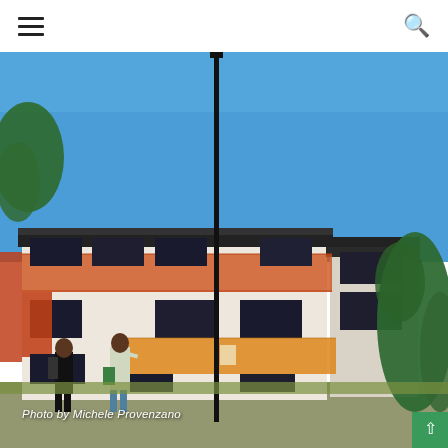Navigation menu and search icon
[Figure (photo): Exterior photo of a multi-story residential building with orange/red balcony panels under a clear blue sky. Two people are walking in front of the building. A tall street light pole is visible in the center. Green trees are on the left and right sides.]
Photo by Michele Provenzano